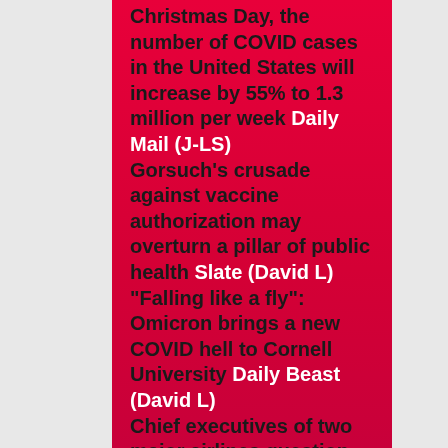Christmas Day, the number of COVID cases in the United States will increase by 55% to 1.3 million per week Daily Mail (J-LS) Gorsuch's crusade against vaccine authorization may overturn a pillar of public health Slate (David L) "Falling like a fly": Omicron brings a new COVID hell to Cornell University Daily Beast (David L) Chief executives of two major airlines question whether masks are needed on planes CNN (Kevin W). Obviously, this position is to avoid disputes with passengers who violate the rules, not